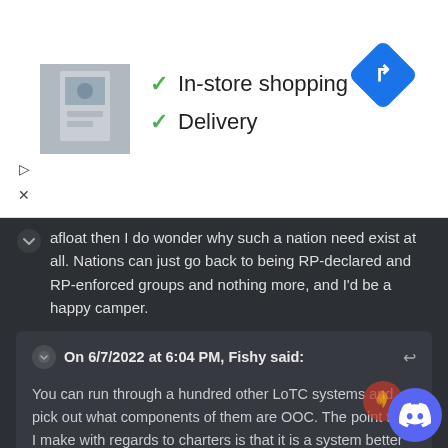[Figure (infographic): Advertisement banner showing store thumbnail image with checkmarks for 'In-store shopping' and 'Delivery', plus a blue navigation/directions icon on the right]
afloat then I do wonder why such a nation need exist at all. Nations can just go back to being RP-declared and RP-enforced groups and nothing more, and I'd be a happy camper.
On 6/7/2022 at 6:04 PM, Fishy said:

You can run through a hundred other LoTC systems and pick out what components of them are OOC. The point that I make with regards to charters is that it is a system better done in RP by players and nations than staff.
RP exists outside of nations and it is very dumb to say that giving nations a 100% monopoly on all land settling is the RP-friendly choice for the server. Deciding not to be a nation vassal is a choice that characters can make in RP that woul...